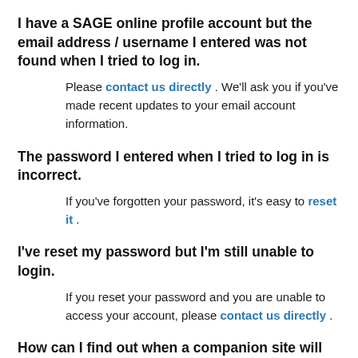I have a SAGE online profile account but the email address / username I entered was not found when I tried to log in.
Please contact us directly . We'll ask you if you've made recent updates to your email account information.
The password I entered when I tried to log in is incorrect.
If you've forgotten your password, it's easy to reset it .
I've reset my password but I'm still unable to login.
If you reset your password and you are unable to access your account, please contact us directly .
How can I find out when a companion site will be